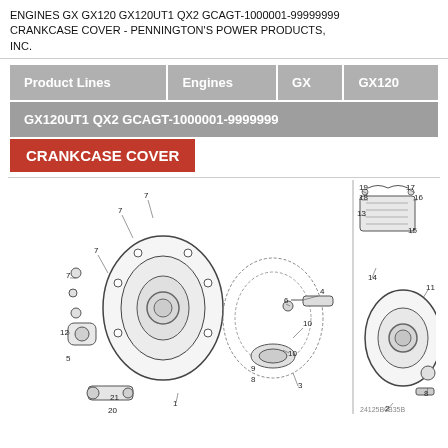ENGINES GX GX120 GX120UT1 QX2 GCAGT-1000001-99999999 CRANKCASE COVER - PENNINGTON'S POWER PRODUCTS, INC.
| Product Lines | Engines | GX | GX120 |
| --- | --- | --- | --- |
| GX120UT1 QX2 GCAGT-1000001-9999999 |  |  |  |
CRANKCASE COVER
[Figure (engineering-diagram): Exploded parts diagram of Honda GX120 crankcase cover assembly showing numbered components including crankcase cover, gasket, bearings, seals, bolts, and related hardware. Parts are numbered 1-21 on left diagram, and parts 2, 8, 11, 13-19 shown in right diagram. A diagram ID '24125B0B35B' is shown at bottom right.]